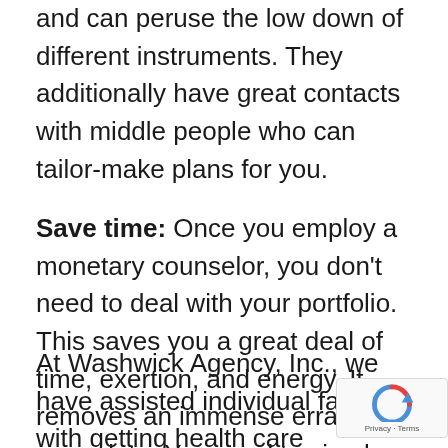and can peruse the low down of different instruments. They additionally have great contacts with middle people who can tailor-make plans for you.
Save time: Once you employ a monetary counselor, you don't need to deal with your portfolio. This saves you a great deal of time, exertion, and energy. It removes an immense errand off your plate. You need to simply meet your monetary counsel at customary spans and see regardless of whether you are on right track.
At Washwick Agency, Inc., we have assisted individual families with getting health care coverage, securing their family through disas...